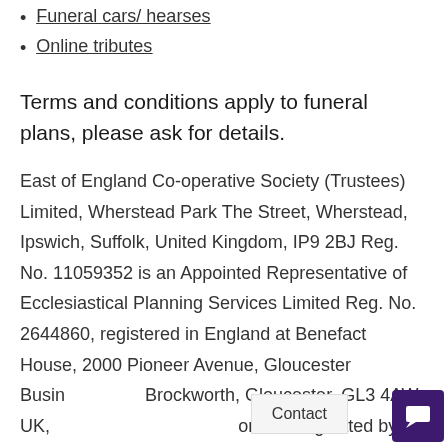Funeral cars/ hearses
Online tributes
Terms and conditions apply to funeral plans, please ask for details.
East of England Co-operative Society (Trustees) Limited, Wherstead Park The Street, Wherstead, Ipswich, Suffolk, United Kingdom, IP9 2BJ Reg. No. 11059352 is an Appointed Representative of Ecclesiastical Planning Services Limited Reg. No. 2644860, registered in England at Benefact House, 2000 Pioneer Avenue, Gloucester Business Park, Brockworth, Gloucester, GL3 4AW, UK, authorised and regulated by the Financial Conduct Authority, Firm